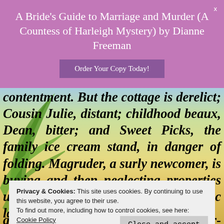A Bride's Guide to Marriage and Murder (A Countess of Harleigh Mystery) by Dianne Freeman
Order Your Copy Today!
contentment. But the cottage is derelict; Cousin Julie, distant; childhood beaux, Dean, bitter; and Sweet Picks, the family ice cream stand, in danger of folding. Magruder, a surly newcomer, is buying and then neglecting properties until nothing remains of the idyllic lakeside c... s t... e h... o l... n accepting her teaching contract. Star-crossed,
Privacy & Cookies: This site uses cookies. By continuing to use this website, you agree to their use.
To find out more, including how to control cookies, see here:
Cookie Policy
Close and accept